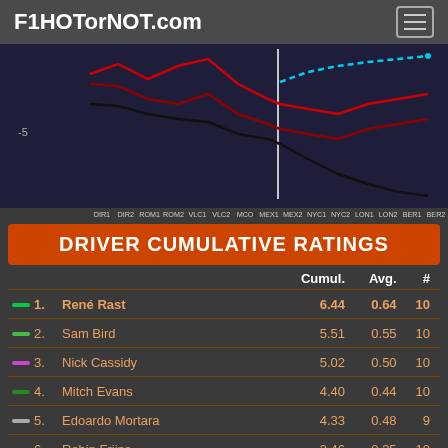F1HOTorNOT.com
[Figure (line-chart): Cumulative driver ratings line chart over race weekends DIR1 through BER2, showing multiple colored lines (red, dark red, cyan dashed, black) trending across the season. Y-axis shows value -5 visible. A vertical white reference line is shown mid-chart.]
DIR1  DIR2  ROM1  ROM2  VLC1  VLC2  MCO  MEX1  MEX2  NYC1  NYC2  LON1  LON2  BER1  BER2
DRIVER CUMULATIVE RATINGS
|  |  | Cumul. | Avg. | # |
| --- | --- | --- | --- | --- |
| 1. | René Rast | 6.44 | 0.64 | 10 |
| 2. | Sam Bird | 5.51 | 0.55 | 10 |
| 3. | Nick Cassidy | 5.02 | 0.50 | 10 |
| 4. | Mitch Evans | 4.40 | 0.44 | 10 |
| 5. | Edoardo Mortara | 4.33 | 0.48 | 9 |
| 6. | Robin Frijns | 3.46 | 0.35 | 10 |
| 7. | António Félix da Costa | 2.68 | 0.27 | 10 |